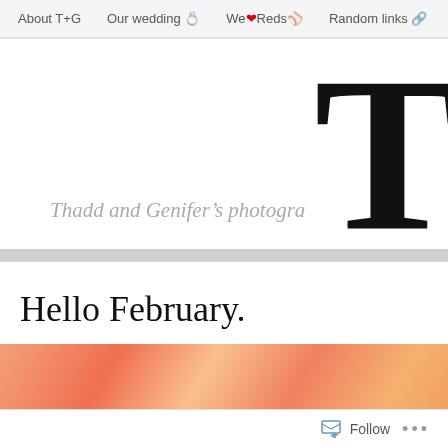About T+G   Our wedding 💍   We❤️Reds⚾   Random links 🔗
[Figure (screenshot): Large bold letter T displayed on the right side of the header, with cursive tagline 'Thadd and Genifer's photogra...' at the bottom of header area]
Hello February.
[Figure (photo): Orange and pink watercolor-style texture image, partially visible]
Follow   ...